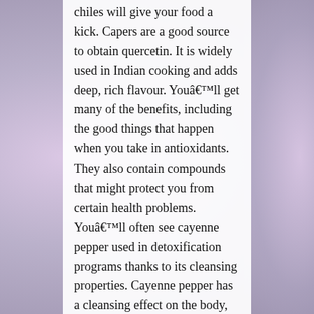chiles will give your food a kick. Capers are a good source to obtain quercetin. It is widely used in Indian cooking and adds deep, rich flavour. Youâ€™ll get many of the benefits, including the good things that happen when you take in antioxidants. They also contain compounds that might protect you from certain health problems. Youâ€™ll often see cayenne pepper used in detoxification programs thanks to its cleansing properties. Cayenne pepper has a cleansing effect on the body, helping to eradicate fungi in the body that just donâ€™t belong. This is a list of culinary herbs and spices.Specifically these are food or drink additives of mostly botanical origin used in nutritionally insignificant